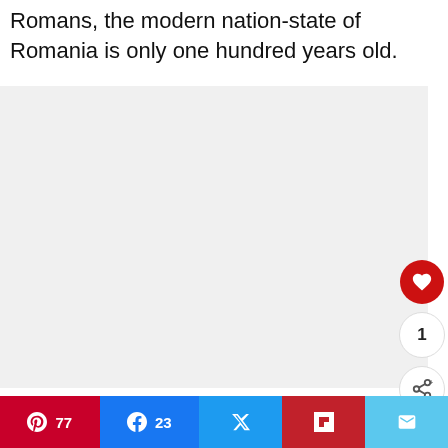Romans, the modern nation-state of Romania is only one hundred years old.
[Figure (photo): Large embedded image area (appears blank/loading) within an article webpage]
[Figure (screenshot): Social media interaction panel: heart/like button (red circle), count of 1, share button (circle with share icon). What's Next panel showing thumbnail and text 'A Road-trip to the Temple o...' Bottom share bar with Pinterest (77), Facebook (23), Twitter, Flipboard, Email buttons.]